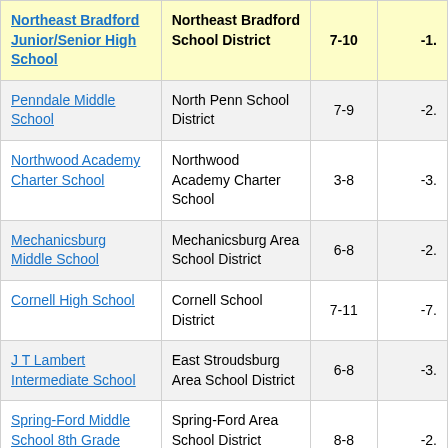| School | District | Grades | Value |
| --- | --- | --- | --- |
| Northeast Bradford Junior/Senior High School | Northeast Bradford School District | 7-10 | -1. |
| Penndale Middle School | North Penn School District | 7-9 | -2. |
| Northwood Academy Charter School | Northwood Academy Charter School | 3-8 | -3. |
| Mechanicsburg Middle School | Mechanicsburg Area School District | 6-8 | -2. |
| Cornell High School | Cornell School District | 7-11 | -7. |
| J T Lambert Intermediate School | East Stroudsburg Area School District | 6-8 | -3. |
| Spring-Ford Middle School 8th Grade Center | Spring-Ford Area School District | 8-8 | -2. |